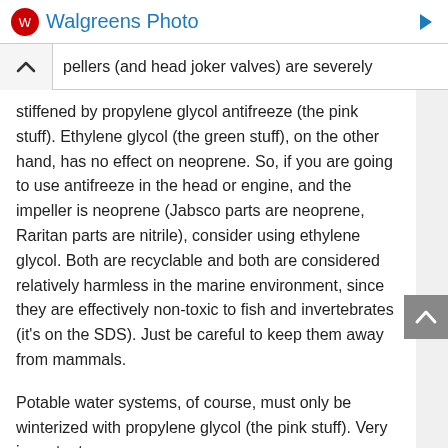Walgreens Photo
pellers (and head joker valves) are severely stiffened by propylene glycol antifreeze (the pink stuff). Ethylene glycol (the green stuff), on the other hand, has no effect on neoprene. So, if you are going to use antifreeze in the head or engine, and the impeller is neoprene (Jabsco parts are neoprene, Raritan parts are nitrile), consider using ethylene glycol. Both are recyclable and both are considered relatively harmless in the marine environment, since they are effectively non-toxic to fish and invertebrates (it’s on the SDS). Just be careful to keep them away from mammals.
Potable water systems, of course, must only be winterized with propylene glycol (the pink stuff). Very important.